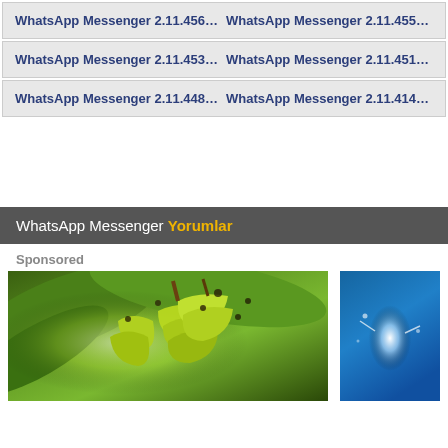WhatsApp Messenger 2.11.456-450174
WhatsApp Messenger 2.11.455-...
WhatsApp Messenger 2.11.453-450171
WhatsApp Messenger 2.11.451-...
WhatsApp Messenger 2.11.448-450166
WhatsApp Messenger 2.11.414-...
WhatsApp Messenger Yorumlar
Sponsored
[Figure (photo): Photo of green bananas hanging from a banana tree with large green leaves in the background]
[Figure (photo): Blue background with a glowing white tooth/dental illustration]